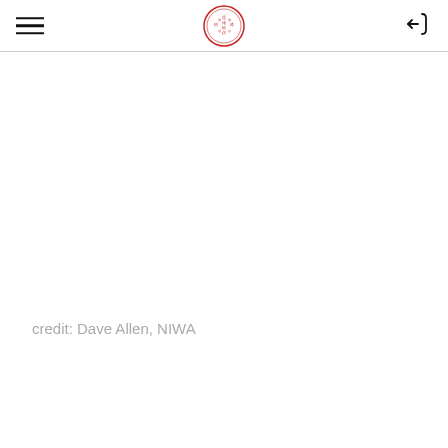[Navigation header with hamburger menu, circular seal logo, and login icon]
credit: Dave Allen, NIWA